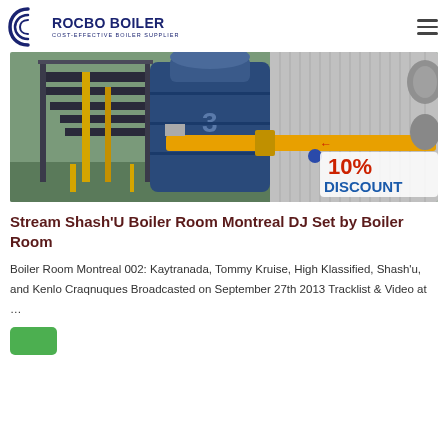ROCBO BOILER — COST-EFFECTIVE BOILER SUPPLIER
[Figure (photo): Industrial boiler equipment in a factory setting with blue machinery, metal stairs, yellow pipes and a '10% DISCOUNT' badge overlaid in red and blue text on the bottom right.]
Stream Shash'U Boiler Room Montreal DJ Set by Boiler Room
Boiler Room Montreal 002: Kaytranada, Tommy Kruise, High Klassified, Shash'u, and Kenlo Craqnuques Broadcasted on September 27th 2013 Tracklist & Video at …